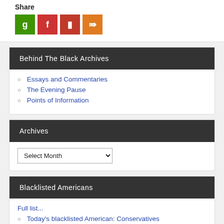Share
[Figure (other): Four social share buttons: green 'g', red 'f', dark red 'p', orange share icon]
Behind The Black Archives
Essays and Commentaries
The Evening Pause
Points of Information
Archives
Select Month (dropdown)
Blacklisted Americans
Full list...
Today's blacklisted American: Conservatives